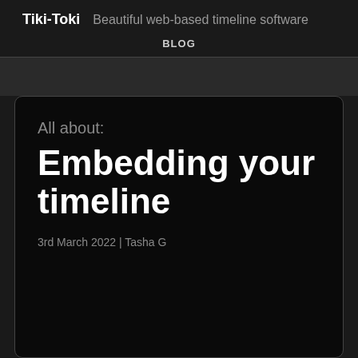Tiki-Toki  Beautiful web-based timeline software
BLOG
All about:
Embedding your timeline
3rd March 2022 | Tasha G